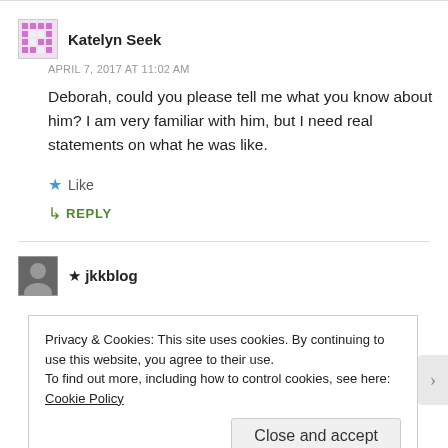Katelyn Seek
APRIL 7, 2017 AT 11:02 AM
Deborah, could you please tell me what you know about him? I am very familiar with him, but I need real statements on what he was like.
Like
REPLY
jkkblog
Privacy & Cookies: This site uses cookies. By continuing to use this website, you agree to their use.
To find out more, including how to control cookies, see here: Cookie Policy
Close and accept